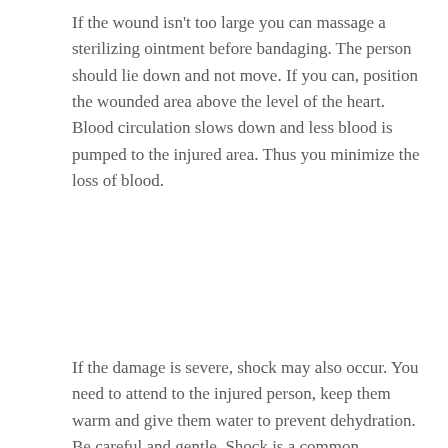If the wound isn't too large you can massage a sterilizing ointment before bandaging. The person should lie down and not move. If you can, position the wounded area above the level of the heart. Blood circulation slows down and less blood is pumped to the injured area. Thus you minimize the loss of blood.
If the damage is severe, shock may also occur. You need to attend to the injured person, keep them warm and give them water to prevent dehydration. Be careful and gentle. Shock is a common condition